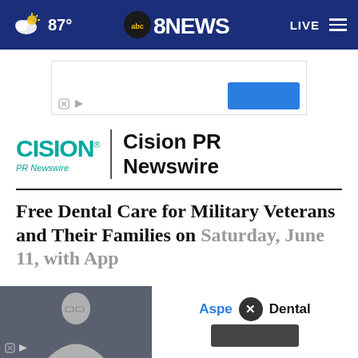87° abc8NEWS LIVE
[Figure (screenshot): Advertisement banner with blue button and close/skip icons]
[Figure (logo): Cision PR Newswire logo with teal CISION wordmark and PR Newswire subtitle, vertical divider, and bold Cision PR Newswire text]
Free Dental Care for Military Veterans and Their Families on Saturday, June 11, with App Available in Kentucky
[Figure (screenshot): Overlapping bottom advertisement: Aspen Dental ad with close button (x) and dark CTA button, plus video thumbnail with person]